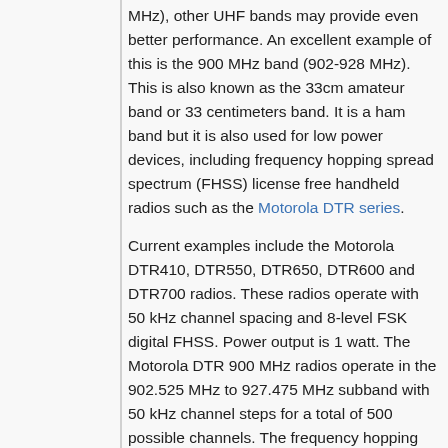MHz), other UHF bands may provide even better performance. An excellent example of this is the 900 MHz band (902-928 MHz). This is also known as the 33cm amateur band or 33 centimeters band. It is a ham band but it is also used for low power devices, including frequency hopping spread spectrum (FHSS) license free handheld radios such as the Motorola DTR series.
Current examples include the Motorola DTR410, DTR550, DTR650, DTR600 and DTR700 radios. These radios operate with 50 kHz channel spacing and 8-level FSK digital FHSS. Power output is 1 watt. The Motorola DTR 900 MHz radios operate in the 902.525 MHz to 927.475 MHz subband with 50 kHz channel steps for a total of 500 possible channels. The frequency hopping (FH) provides excellent security against interception and protection against jamming and the 1w power output means range is limited, but not too limited by any means. Performance inside buildings and in built-up urban areas is